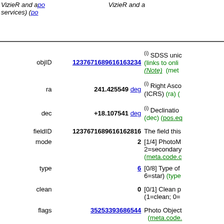VizieR and associated services) (po...
| Field | Value | Description |
| --- | --- | --- |
| objID | 1237671689616163234 | (i) SDSS unique object identifier (links to online data) (Note) (met... |
| ra | 241.425549 deg | (i) Right Ascension (ICRS) (ra) (... |
| dec | +18.107541 deg | (i) Declination (dec) (pos.eq... |
| fieldID | 1237671689616162816 | The field this... |
| mode | 2 | [1/4] PhotoM... 2=secondary... (meta.code.c... |
| type | 6 | [0/8] Type of... 6=star) (type... |
| clean | 0 | [0/1] Clean p... (1=clean; 0=... |
| flags | 35253393686544 | Photo Object... (meta.code.... |
| psfMag_u | 19.839 mag | (i) [4/35] PSF... (psfMag_u... |